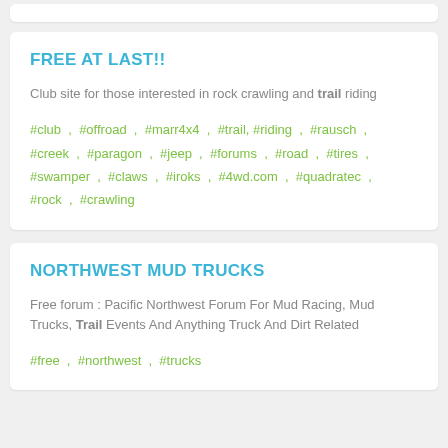FREE AT LAST!!
Club site for those interested in rock crawling and trail riding
#club , #offroad , #marr4x4 , #trail, #riding , #rausch , #creek , #paragon , #jeep , #forums , #road , #tires , #swamper , #claws , #iroks , #4wd.com , #quadratec , #rock , #crawling
NORTHWEST MUD TRUCKS
Free forum : Pacific Northwest Forum For Mud Racing, Mud Trucks, Trail Events And Anything Truck And Dirt Related
#free , #northwest , #trucks